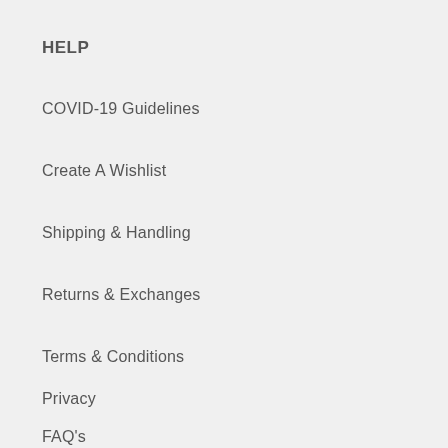HELP
COVID-19 Guidelines
Create A Wishlist
Shipping & Handling
Returns & Exchanges
Terms & Conditions
Privacy
FAQ's